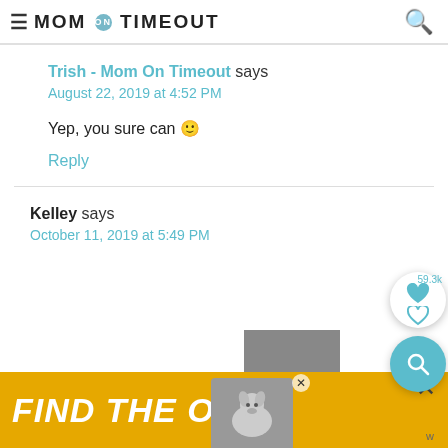MOM ON TIMEOUT
Trish - Mom On Timeout says
August 22, 2019 at 4:52 PM
Yep, you sure can 🙂
Reply
Kelley says
October 11, 2019 at 5:49 PM
[Figure (screenshot): Ad banner at bottom: yellow background with bold italic white text 'FIND THE ONE' and a dog image; also gray overlay box and floating sidebar buttons with heart count 59.3k and search icon]